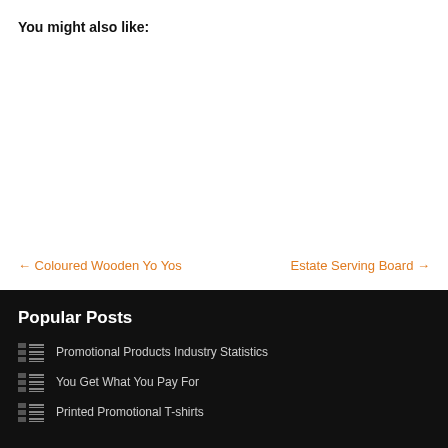You might also like:
← Coloured Wooden Yo Yos
Estate Serving Board →
Popular Posts
Promotional Products Industry Statistics
You Get What You Pay For
Printed Promotional T-shirts